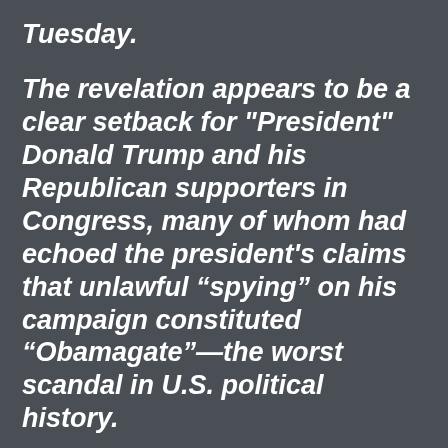Tuesday.
The revelation appears to be a clear setback for "President" Donald Trump and his Republican supporters in Congress, many of whom had echoed the president's claims that unlawful “spying” on his campaign constituted “Obamagate”—the worst scandal in U.S. political history.
Unmasking is an intelligence community term which refers to the common practice of revealing the